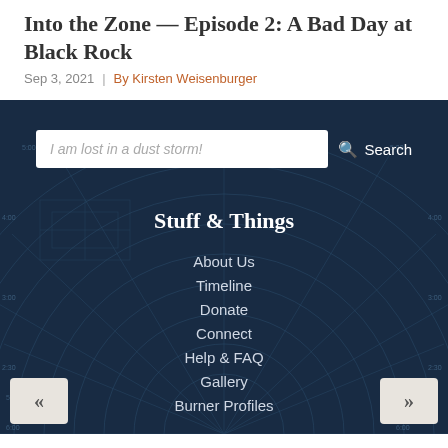Into the Zone — Episode 2: A Bad Day at Black Rock
Sep 3, 2021 | By Kirsten Weisenburger
[Figure (infographic): Dark navy background with a circular radar/polar chart watermark pattern showing concentric rings and radial lines with time labels]
I am lost in a dust storm!
Stuff & Things
About Us
Timeline
Donate
Connect
Help & FAQ
Gallery
Burner Profiles